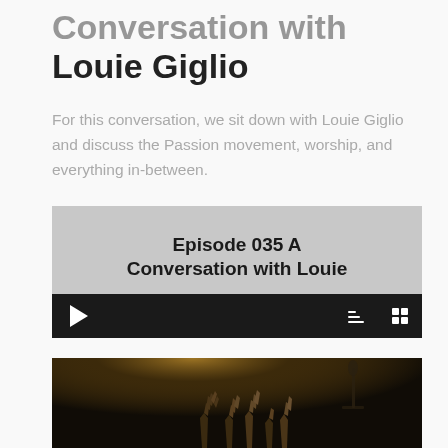Conversation with Louie Giglio
For this conversation, we sit down with Louie Giglio and discuss the Passion movement, worship, and everything in-between.
[Figure (screenshot): Embedded video player showing 'Episode 035 A Conversation with Louie' with dark controls bar including play button and other controls]
[Figure (photo): Dark concert photo showing raised hands illuminated by warm stage lighting]